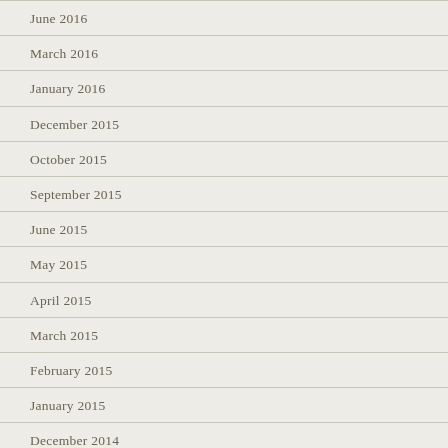June 2016
March 2016
January 2016
December 2015
October 2015
September 2015
June 2015
May 2015
April 2015
March 2015
February 2015
January 2015
December 2014
November 2014